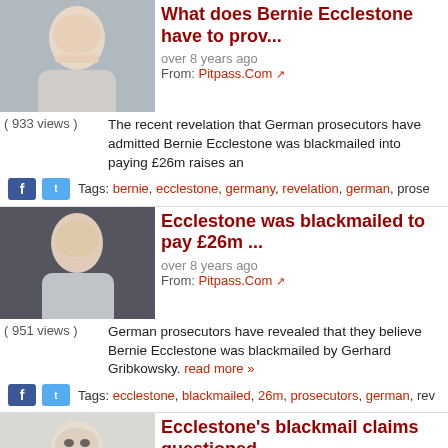What does Bernie Ecclestone have to prov...
over 8 years ago
From: Pitpass.Com
( 933 views ) The recent revelation that German prosecutors have admitted Bernie Ecclestone was blackmailed into paying £26m raises an
Tags: bernie, ecclestone, germany, revelation, german, prose...
Ecclestone was blackmailed to pay £26m ...
over 8 years ago
From: Pitpass.Com
( 951 views ) German prosecutors have revealed that they believe Bernie Ecclestone was blackmailed by Gerhard Gribkowsky. read more »
Tags: ecclestone, blackmailed, 26m, prosecutors, german, rev...
Ecclestone's blackmail claims questioned
over 8 years ago
From: PlanetF1.Com
( 1439 views ) Prosecutors cast doubt over Bernie Ecclestone's claims that he was blackmailed by Gerhard Gribkowsky as the F1 supremo
Tags: ecclestone, blackmail, claims, prosecutors, bernie, blac...
Ecclestone trial begins in Germany
over 8 years ago
From: F1Zone.Net